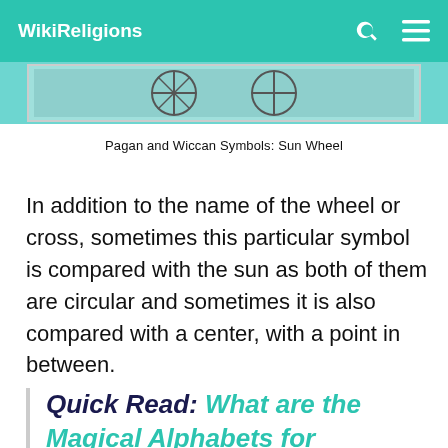WikiReligions
[Figure (photo): Partial image of Pagan and Wiccan Symbols: Sun Wheel — cropped decorative image strip]
Pagan and Wiccan Symbols: Sun Wheel
In addition to the name of the wheel or cross, sometimes this particular symbol is compared with the sun as both of them are circular and sometimes it is also compared with a center, with a point in between.
Quick Read: What are the Magical Alphabets for